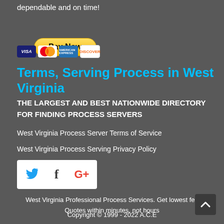dependable and on time!
[Figure (other): Pay Now button with PayPal and credit card icons (Visa, Mastercard, Amex, Discover)]
Terms, Serving Process in West Virginia
THE LARGEST AND BEST NATIONWIDE DIRECTORY FOR FINDING PROCESS SERVERS
West Virginia Process Server Terms of Service
West Virginia Process Serving Privacy Policy
[Figure (other): Social media icons: Twitter (blue bird), Facebook (f), Google+ (G+)]
West Virginia Professional Process Services. Get lowest fee Quotes within minutes, not hours
Copyright © 1999 - 2022 A.C.E